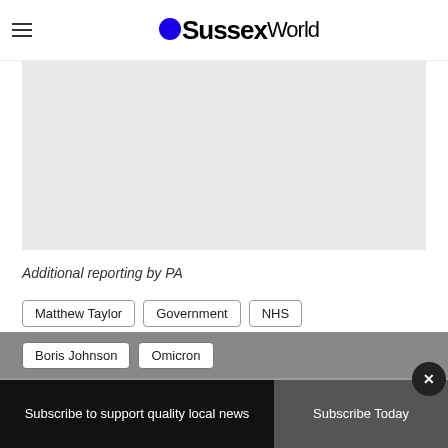OSussexWorld
[Figure (photo): Image placeholder — light gray rectangle]
Additional reporting by PA
Matthew Taylor | Government | NHS
Boris Johnson | Omicron
Subscribe to support quality local news
Subscribe Today